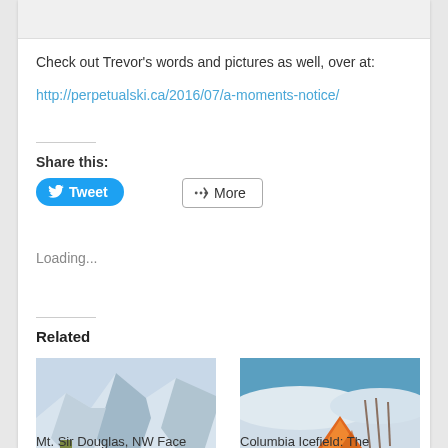Check out Trevor's words and pictures as well, over at:
http://perpetualski.ca/2016/07/a-moments-notice/
Share this:
[Figure (screenshot): Tweet button (blue rounded) and More button (outlined)]
Loading...
Related
[Figure (photo): Mountain snow scene with climber, Mt. Sir Douglas NW Face]
[Figure (photo): Winter camping scene with orange tent, Columbia Icefield]
Mt. Sir Douglas, NW Face
Columbia Icefield: The